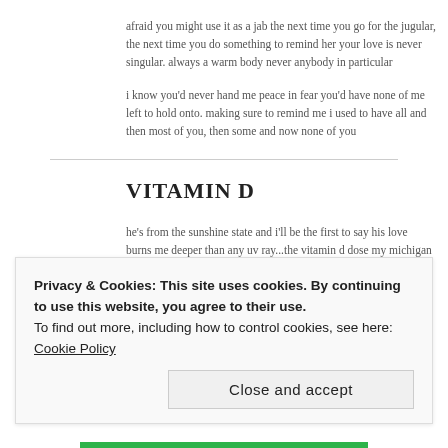afraid you might use it as a jab the next time you go for the jugular, the next time you do something to remind her your love is never singular. always a warm body never anybody in particular
i know you'd never hand me peace in fear you'd have none of me left to hold onto. making sure to remind me i used to have all and then most of you, then some and now none of you
VITAMIN D
he's from the sunshine state and i'll be the first to say his love burns me deeper than any uv ray...the vitamin d dose my michigan psychiatrist said i needed since age 15 in order to keep the demons at bay
deep creased eye smiles with subliminal meaning showing me there's vibrato and a whole lot of forever...
Privacy & Cookies: This site uses cookies. By continuing to use this website, you agree to their use.
To find out more, including how to control cookies, see here: Cookie Policy
Close and accept